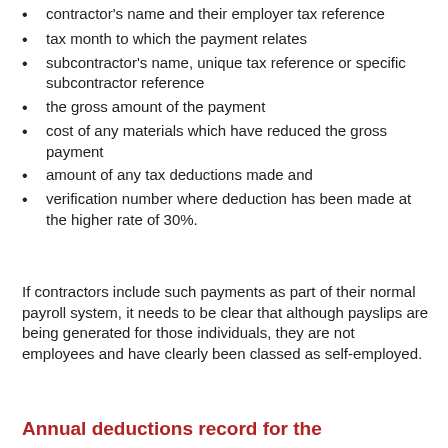contractor's name and their employer tax reference
tax month to which the payment relates
subcontractor's name, unique tax reference or specific subcontractor reference
the gross amount of the payment
cost of any materials which have reduced the gross payment
amount of any tax deductions made and
verification number where deduction has been made at the higher rate of 30%.
If contractors include such payments as part of their normal payroll system, it needs to be clear that although payslips are being generated for those individuals, they are not employees and have clearly been classed as self-employed.
Annual deductions record for the